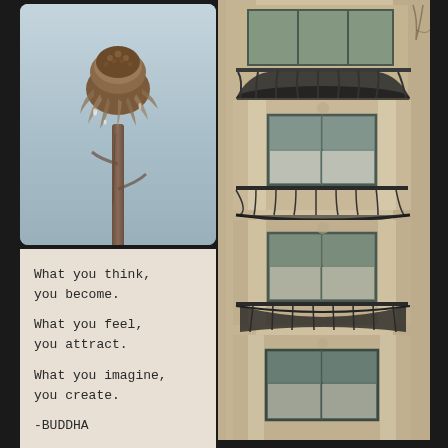[Figure (photo): Close-up photo of a dried withered flower head (possibly echinacea/coneflower) on a stem against a blurred gray background]
What you think, you become.

What you feel, you attract.

What you imagine, you create.

-BUDDHA
[Figure (photo): Photo of a ornate historic building facade with multiple levels of decorative iron balconies and large windows, stone construction]